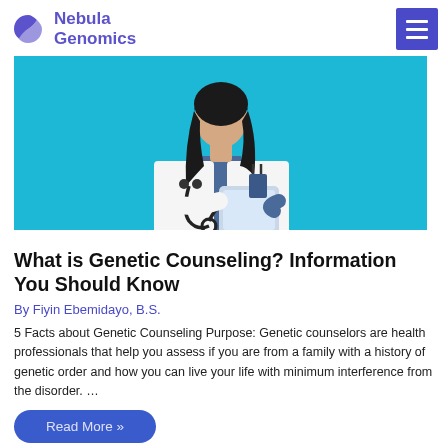Nebula Genomics
[Figure (illustration): Illustrated doctor in white coat holding a tablet, with blue background]
What is Genetic Counseling? Information You Should Know
By Fiyin Ebemidayo, B.S.
5 Facts about Genetic Counseling Purpose: Genetic counselors are health professionals that help you assess if you are from a family with a history of genetic order and how you can live your life with minimum interference from the disorder. …
Read More »